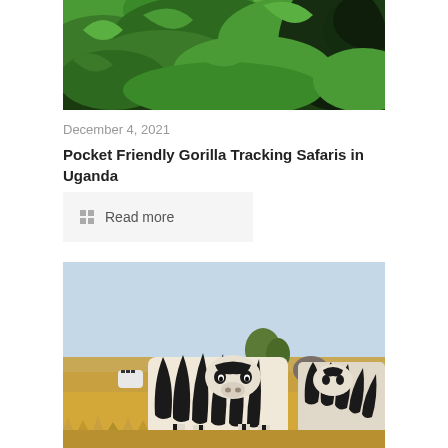[Figure (photo): Photo of a gorilla partially visible among green tropical leaves and vegetation]
December 4, 2021
Pocket Friendly Gorilla Tracking Safaris in Uganda
Read more
[Figure (photo): Two zebras standing face to face in an open savanna grassland with more zebras and an elephant visible in the background under a light blue sky]